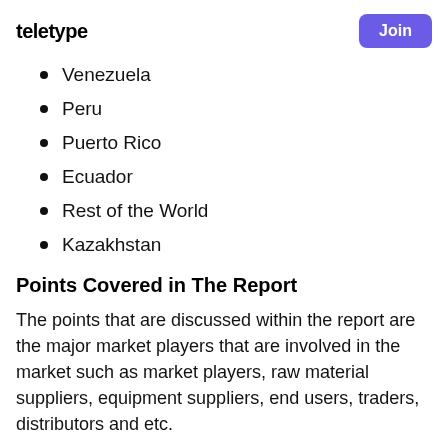teletype | Join
Venezuela
Peru
Puerto Rico
Ecuador
Rest of the World
Kazakhstan
Points Covered in The Report
The points that are discussed within the report are the major market players that are involved in the market such as market players, raw material suppliers, equipment suppliers, end users, traders, distributors and etc.